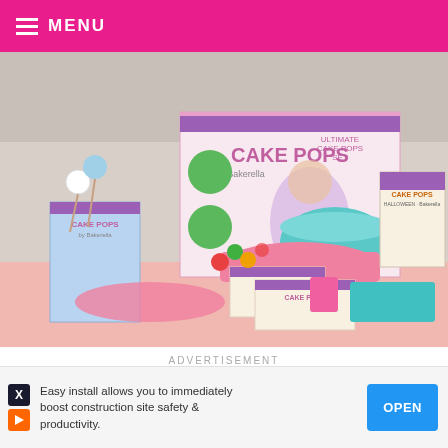MENU
[Figure (photo): Cake Pops product set showing boxes, books, mixing bowls in pink and teal colors, with decorative cake pops on a pink surface]
ADVERTISEMENT
[Figure (logo): SHE Media Partner Network advertisement banner with teal background and 'BECOME A MEMBER' button]
Easy install allows you to immediately boost construction site safety & productivity.
OPEN